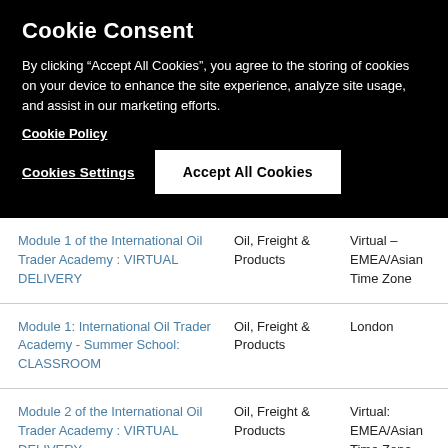Cookie Consent
By clicking “Accept All Cookies”, you agree to the storing of cookies on your device to enhance the site experience, analyze site usage, and assist in our marketing efforts.
Cookie Policy
Cookies Settings
Accept All Cookies
Module 1 of the International Oil Trader Academy : VIRTUAL DELIVERY | Oil, Freight & Products | Virtual - EMEA/Asian Time Zone
Module 1: International Oil Trader Academy - Summer School: CLASSROOM | Oil, Freight & Products | London
Module 2 of the International Oil Trader Academy : VIRTUAL DELIVERY | Oil, Freight & Products | Virtual: EMEA/Asian Time Zone